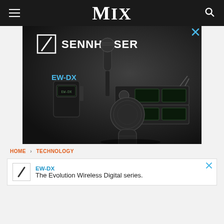MIX
[Figure (photo): Sennheiser advertisement showing EW-DX wireless microphone system products on dark background with 'SENNHEISER' logo and 'EW-DX' text label]
HOME > TECHNOLOGY
[Figure (other): Small Sennheiser banner ad with logo, 'EW-DX' in blue text, and tagline 'The Evolution Wireless Digital series.']